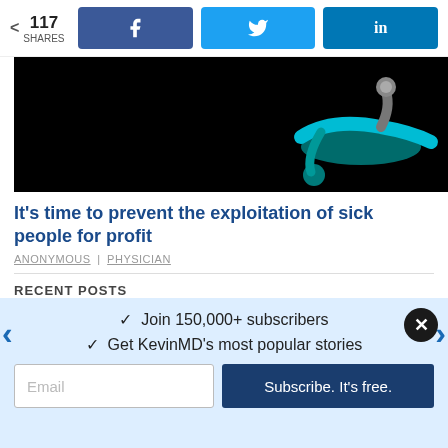117 SHARES | Facebook share | Twitter share | LinkedIn share
[Figure (photo): Dark background photo of a stethoscope with teal/green coloring on the right side]
It's time to prevent the exploitation of sick people for profit
ANONYMOUS | PHYSICIAN
RECENT POSTS
[Figure (photo): Partial photo showing hands with warm skin tones against light background]
Join 150,000+ subscribers
Get KevinMD's most popular stories
Email
Subscribe. It's free.